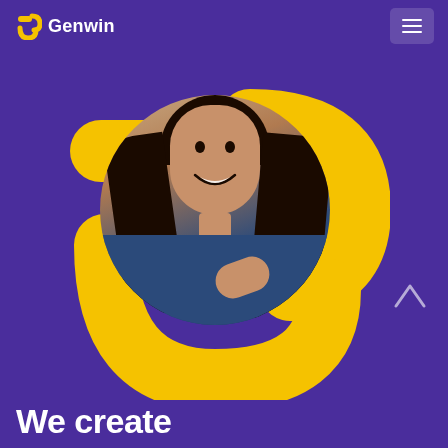Genwin
[Figure (illustration): Large yellow Genwin logo mark (stylized smiley/number-3 shape) overlaid with a circular photo of a smiling woman with long dark hair, wearing a blue top, hand on chest, on a purple background]
We create